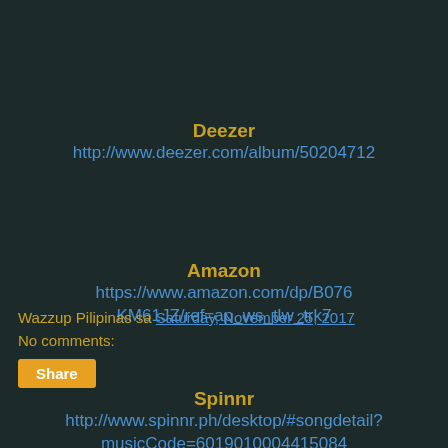Deezer
http://www.deezer.com/album/50204712
Amazon
https://www.amazon.com/dp/B076KM61JZ/ref=ap_ws_tlw_trk7
Spinnr
http://www.spinnr.ph/desktop/#songdetail?musicCode=6019010004415084
Wazzup Pilipinas sa Saturday, November 25, 2017
No comments: